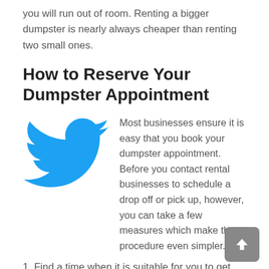you will run out of room. Renting a bigger dumpster is nearly always cheaper than renting two small ones.
How to Reserve Your Dumpster Appointment
[Figure (logo): Twitter bird logo in blue]
Most businesses ensure it is easy that you book your dumpster appointment. Before you contact rental businesses to schedule a drop off or pick up, however, you can take a few measures which make the procedure even simpler.
1. Find a time when it is suitable for you to get the dumpster. Most businesses will require you to sign a contract, which means you will need to be on location when the dumpster arrives.
2. Give you and the rental company a lot of time. It is better to phone ahead at least a week or two before you need the dumpster. If you try to schedule an appointment sooner than that